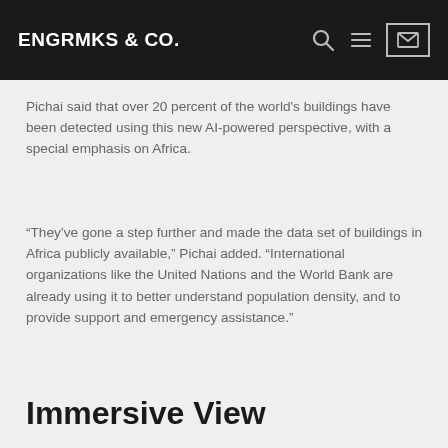ENGRMKS & CO.
Pichai said that over 20 percent of the world’s buildings have been detected using this new AI-powered perspective, with a special emphasis on Africa.
“They’ve gone a step further and made the data set of buildings in Africa publicly available,” Pichai added. “International organizations like the United Nations and the World Bank are already using it to better understand population density, and to provide support and emergency assistance.”
Immersive View